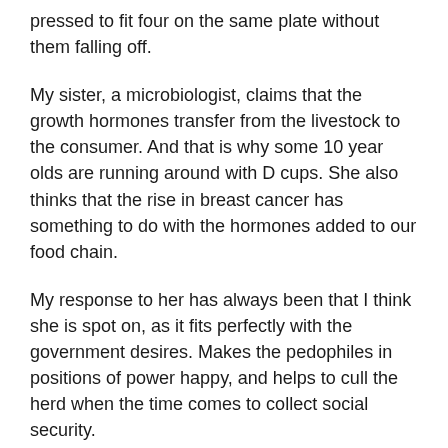pressed to fit four on the same plate without them falling off.
My sister, a microbiologist, claims that the growth hormones transfer from the livestock to the consumer. And that is why some 10 year olds are running around with D cups. She also thinks that the rise in breast cancer has something to do with the hormones added to our food chain.
My response to her has always been that I think she is spot on, as it fits perfectly with the government desires. Makes the pedophiles in positions of power happy, and helps to cull the herd when the time comes to collect social security.
But if Joel Salatin is on to something and he has a